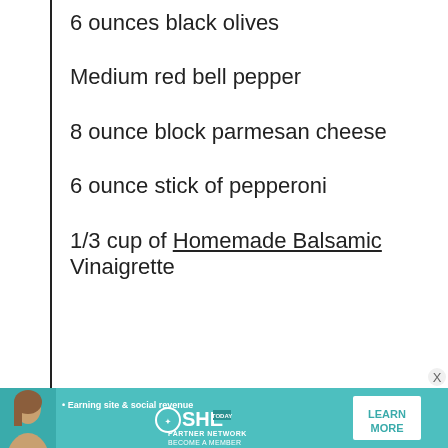6 ounces black olives
Medium red bell pepper
8 ounce block parmesan cheese
6 ounce stick of pepperoni
1/3 cup of Homemade Balsamic Vinaigrette
[Figure (other): Advertisement banner for SHE Media Partner Network with teal background, photo of a woman, text 'Earning site & social revenue', SHE logo, PARTNER NETWORK, BECOME A MEMBER, and LEARN MORE button]